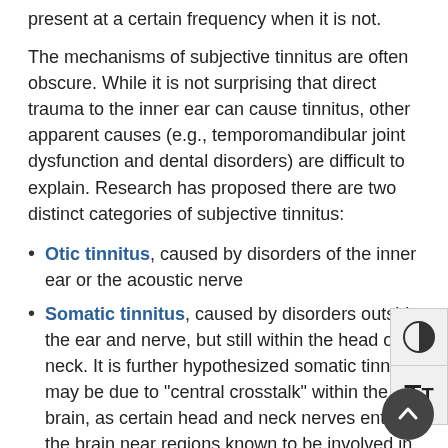present at a certain frequency when it is not.
The mechanisms of subjective tinnitus are often obscure. While it is not surprising that direct trauma to the inner ear can cause tinnitus, other apparent causes (e.g., temporomandibular joint dysfunction and dental disorders) are difficult to explain. Research has proposed there are two distinct categories of subjective tinnitus:
Otic tinnitus, caused by disorders of the inner ear or the acoustic nerve
Somatic tinnitus, caused by disorders outside the ear and nerve, but still within the head or neck. It is further hypothesized somatic tinnitus may be due to "central crosstalk" within the brain, as certain head and neck nerves enter the brain near regions known to be involved in hearing. It may be caused by increased neural activity in the auditory brainstem where the brain